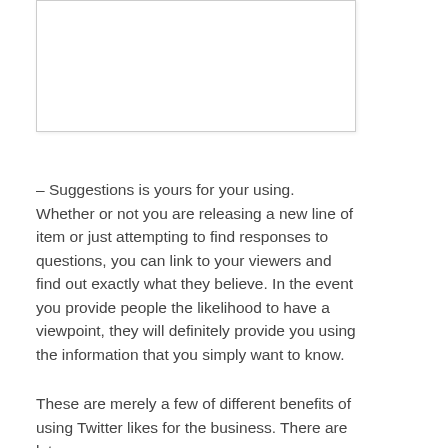[Figure (other): Empty white box with border, likely placeholder for an image]
– Suggestions is yours for your using. Whether or not you are releasing a new line of item or just attempting to find responses to questions, you can link to your viewers and find out exactly what they believe. In the event you provide people the likelihood to have a viewpoint, they will definitely provide you using the information that you simply want to know.
These are merely a few of different benefits of using Twitter likes for the business. There are lots